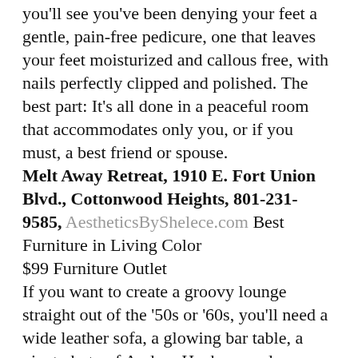you'll see you've been denying your feet a gentle, pain-free pedicure, one that leaves your feet moisturized and callous free, with nails perfectly clipped and polished. The best part: It's all done in a peaceful room that accommodates only you, or if you must, a best friend or spouse.
Melt Away Retreat, 1910 E. Fort Union Blvd., Cottonwood Heights, 801-231-9585, AestheticsByShelece.com Best Furniture in Living Color
$99 Furniture Outlet
If you want to create a groovy lounge straight out of the '50s or '60s, you'll need a wide leather sofa, a glowing bar table, a giant photo of Audrey Hepburn and a neon mirror in the shape of a martini olive. At $99 Furniture Outlet, furniture comes in all textures, shapes and hues. Pick a purple chair as an accent piece, or go wild and